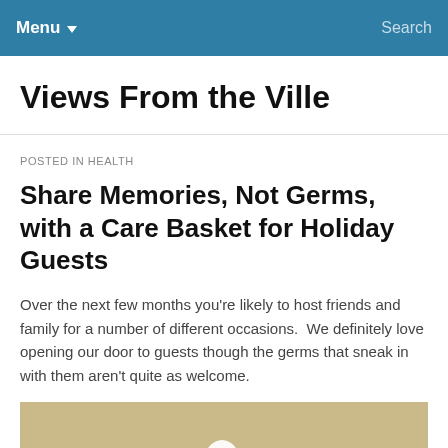Menu  Search
Views From the Ville
POSTED IN HEALTH
Share Memories, Not Germs, with a Care Basket for Holiday Guests
Over the next few months you’re likely to host friends and family for a number of different occasions.  We definitely love opening our door to guests though the germs that sneak in with them aren’t quite as welcome.
[Figure (photo): Photo of a tissue box or white tissue against a tan/beige background]